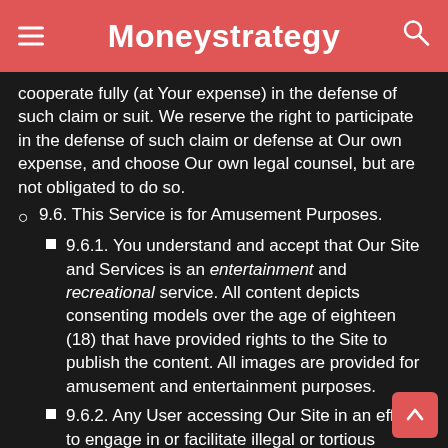Moneystrategy
cooperate fully (at Your expense) in the defense of such claim or suit. We reserve the right to participate in the defense of such claim or defense at Our own expense, and choose Our own legal counsel, but are not obligated to do so.
9.6. This Service is for Amusement Purposes.
9.6.1. You understand and accept that Our Site and Services is an entertainment and recreational service. All content depicts consenting models over the age of eighteen (18) that have provided rights to the Site to publish the content. All images are provided for amusement and entertainment purposes.
9.6.2. Any User accessing Our Site in an effort to engage in or facilitate illegal or tortious activities may be reported to the appropriate law enforcement agency.
9.6.3. Nothing contained in this section is intended to limit the scope of releases and/or indemnification contained elsewhere in this Agreement.